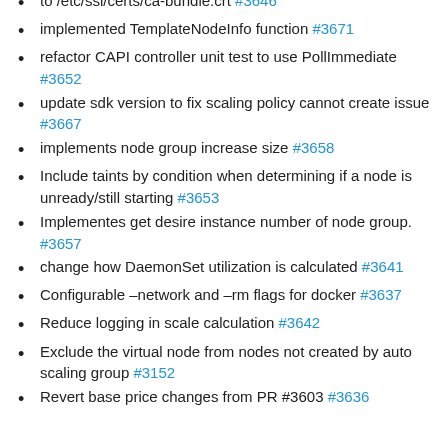to /etc/ssl/certs/ca-bundle.crt #3646
implemented TemplateNodeInfo function #3671
refactor CAPI controller unit test to use PollImmediate #3652
update sdk version to fix scaling policy cannot create issue #3667
implements node group increase size #3658
Include taints by condition when determining if a node is unready/still starting #3653
Implementes get desire instance number of node group. #3657
change how DaemonSet utilization is calculated #3641
Configurable –network and –rm flags for docker #3637
Reduce logging in scale calculation #3642
Exclude the virtual node from nodes not created by auto scaling group #3152
Revert base price changes from PR #3603 #3636